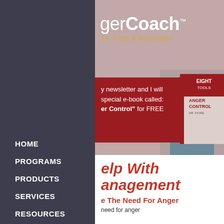[Figure (screenshot): Website screenshot of AngerCoach by Dr. Fiore & Associates showing navigation menu and page content]
gerCoach™ Dr. Fiore & Associates
HOME
PROGRAMS
PRODUCTS
SERVICES
RESOURCES
BLOG
ABOUT
CONTACT
CART
y newsletter and I will special e-book called: er Control" for FREE
elp With anagement
e The Need For Anger
need for anger